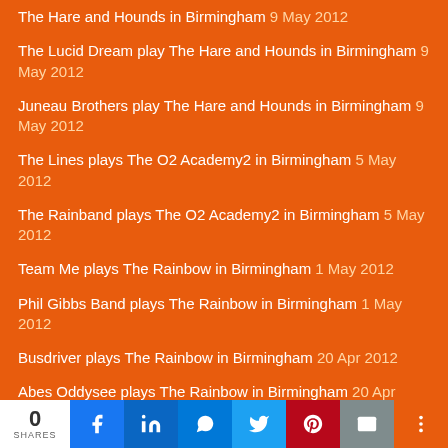The Hare and Hounds in Birmingham 9 May 2012
The Lucid Dream play The Hare and Hounds in Birmingham 9 May 2012
Juneau Brothers play The Hare and Hounds in Birmingham 9 May 2012
The Lines plays The O2 Academy2 in Birmingham 5 May 2012
The Rainband plays The O2 Academy2 in Birmingham 5 May 2012
Team Me plays The Rainbow in Birmingham 1 May 2012
Phil Gibbs Band plays The Rainbow in Birmingham 1 May 2012
Busdriver plays The Rainbow in Birmingham 20 Apr 2012
Abes Oddysee plays The Rainbow in Birmingham 20 Apr 2012
The Futureheads play The Glee Club in Birmingham 10 Apr 2012
The Cornshed Sisters play The Glee Club in Birmingham 10 Apr 2012